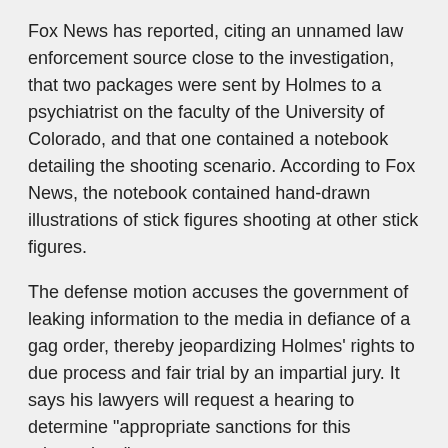Fox News has reported, citing an unnamed law enforcement source close to the investigation, that two packages were sent by Holmes to a psychiatrist on the faculty of the University of Colorado, and that one contained a notebook detailing the shooting scenario. According to Fox News, the notebook contained hand-drawn illustrations of stick figures shooting at other stick figures.
The defense motion accuses the government of leaking information to the media in defiance of a gag order, thereby jeopardizing Holmes' rights to due process and fair trial by an impartial jury. It says his lawyers will request a hearing to determine "appropriate sanctions for this misconduct."
Prosecutors, responding to the discovery motion, disputed various elements of media accounts as being erroneous, suggesting that anyone who had provided information to Fox News and other outlets lacked real knowledge of the case.
"These factual errors lead (the government) to believe ... that the media is getting information from hoaxers, fraudsters, or maybe from nobody at all